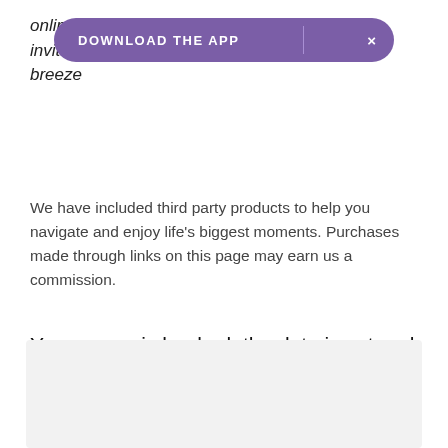online, th…ding invitations…y set a breeze
[Figure (other): Purple 'DOWNLOAD THE APP' banner overlay with close button (×)]
We have included third party products to help you navigate and enjoy life's biggest moments. Purchases made through links on this page may earn us a commission.
Your venue is booked, the date is set and your guest list is finalised. Next step on your wedding planning checklist? Send your wedding invitations!
[Figure (other): Light gray content placeholder box]